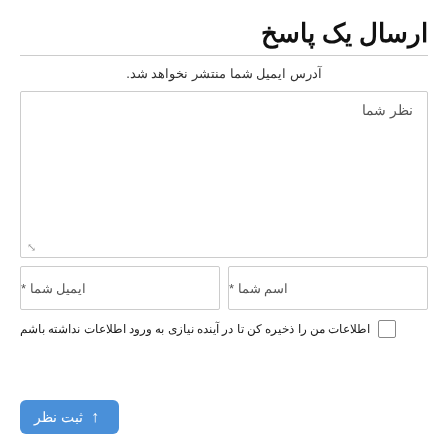ارسال یک پاسخ
آدرس ایمیل شما منتشر نخواهد شد.
نظر شما
اسم شما *
ایمیل شما *
اطلاعات من را ذخیره کن تا در آینده نیازی به ورود اطلاعات نداشته باشم
ثبت نظر